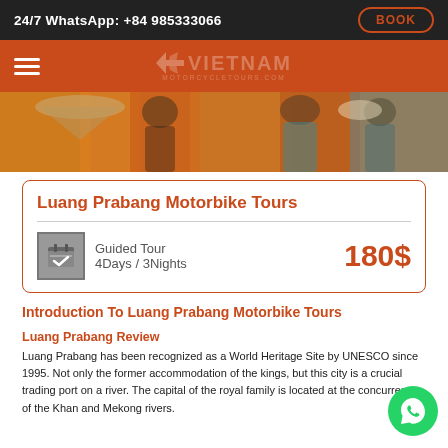24/7 WhatsApp: +84 985333066 | BOOK
[Figure (logo): Vietnam Motorcycle Tours logo with hamburger menu on orange/red nav bar]
[Figure (photo): Photo of people wearing traditional Vietnamese conical hats and colorful clothing at a market or ceremony]
Luang Prabang Motorbike Tours
Guided Tour
4Days / 3Nights
180$
Introduction To Luang Prabang Motorbike Tours
Luang Prabang Review
Luang Prabang has been recognized as a World Heritage Site by UNESCO since 1995. Not only the former accommodation of the kings, but this city is a crucial trading port on a river. The capital of the royal family is located at the concurrency of the Khan and Mekong rivers.